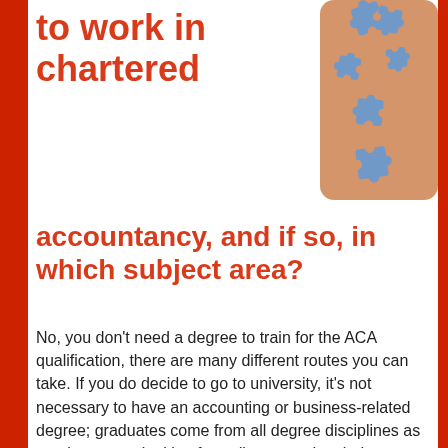to work in chartered
[Figure (illustration): Several blue puzzle pieces scattered on an orange/tan rounded rectangle background]
accountancy, and if so, in which subject area?
No, you don’t need a degree to train for the ACA qualification, there are many different routes you can take. If you do decide to go to university, it’s not necessary to have an accounting or business-related degree; graduates come from all degree disciplines as employers are looking for a diverse and varied workforce. However, if your degree was in business, accountancy or finance, you could be eligible to claim credit for some of